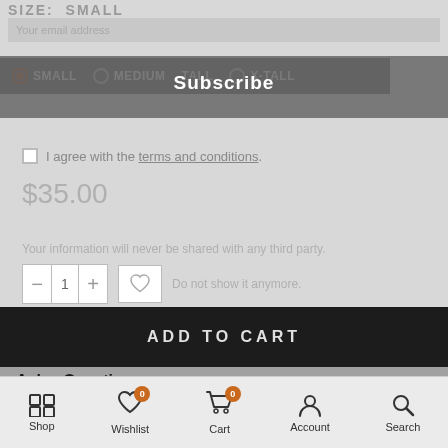SIZE: SMALL
[Figure (screenshot): Size selection row with radio buttons: SMALL (selected), MEDIUM, TALL, X-TALL on dark gray background, overlaid with Subscribe popup]
Subscribe
I agree with the terms and conditions.
$35.00
Your information will never be shared with any third party.
Do not show it anymore.
ADD TO CART
Ask a Question
Description
Shop  Wishlist  Cart  Account  Search